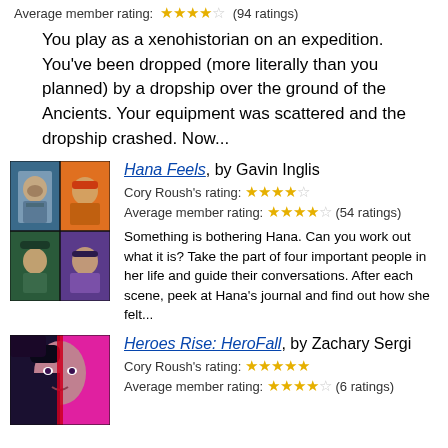Average member rating: ★★★★☆ (94 ratings)
You play as a xenohistorian on an expedition. You've been dropped (more literally than you planned) by a dropship over the ground of the Ancients. Your equipment was scattered and the dropship crashed. Now...
[Figure (illustration): Book cover for Hana Feels showing four portraits in colored panels: a bearded man in blue-grey, a red-haired woman in orange, a man in hat in dark green, a woman in purple.]
Hana Feels, by Gavin Inglis
Cory Roush's rating: ★★★★☆
Average member rating: ★★★★☆ (54 ratings)
Something is bothering Hana. Can you work out what it is? Take the part of four important people in her life and guide their conversations. After each scene, peek at Hana's journal and find out how she felt...
[Figure (illustration): Book cover for Heroes Rise: HeroFall showing a split face with dark and magenta halves against a pink background.]
Heroes Rise: HeroFall, by Zachary Sergi
Cory Roush's rating: ★★★★★
Average member rating: ★★★★☆ (6 ratings)